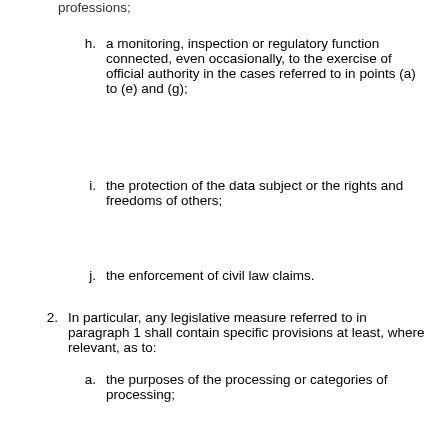professions;
h. a monitoring, inspection or regulatory function connected, even occasionally, to the exercise of official authority in the cases referred to in points (a) to (e) and (g);
i. the protection of the data subject or the rights and freedoms of others;
j. the enforcement of civil law claims.
2. In particular, any legislative measure referred to in paragraph 1 shall contain specific provisions at least, where relevant, as to:
a. the purposes of the processing or categories of processing;
b. the categories of personal data;
c. the scope of the restrictions introduced;